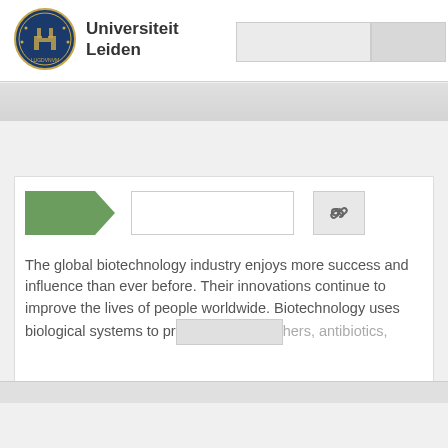[Figure (logo): Universiteit Leiden circular seal/crest logo in blue and gold]
Universiteit Leiden
[Figure (screenshot): Search input box and button in top right of header]
[Figure (infographic): Green arrow/tag shape UI element, text input field, and link chain icon button]
The global biotechnology industry enjoys more success and influence than ever before. Their innovations continue to improve the lives of people worldwide. Biotechnology uses biological systems to pr[redacted]hers, antibiotics,